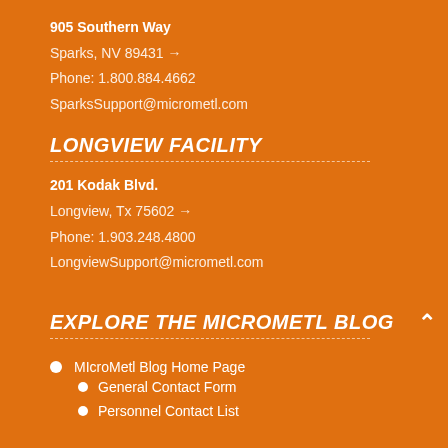905 Southern Way
Sparks, NV 89431 →
Phone: 1.800.884.4662
SparksSupport@micrometl.com
LONGVIEW FACILITY
201 Kodak Blvd.
Longview, Tx 75602 →
Phone: 1.903.248.4800
LongviewSupport@micrometl.com
EXPLORE THE MICROMETL BLOG
MIcroMetl Blog Home Page
General Contact Form
Personnel Contact List